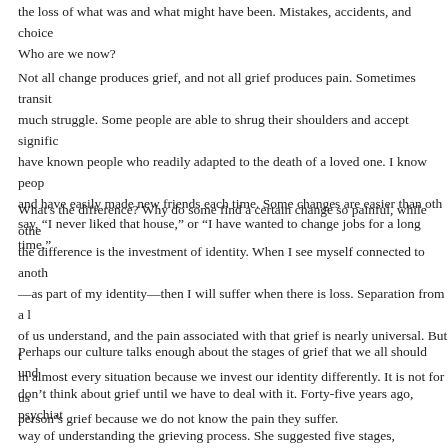the loss of what was and what might have been. Mistakes, accidents, and choice Who are we now?
Not all change produces grief, and not all grief produces pain. Sometimes transit much struggle. Some people are able to shrug their shoulders and accept signific have known people who readily adapted to the death of a loved one. I know peop and have easily made new friends each time. Some changes are easier than oth say, “I never liked that house,” or “I have wanted to change jobs for a long time.”
What's the difference? Why do some find a certain change so painful, while othe the difference is the investment of identity. When I see myself connected to anoth —as part of my identity—then I will suffer when there is loss. Separation from a l of us understand, and the pain associated with that grief is nearly universal. But t in almost every situation because we invest our identity differently. It is not for us person’s grief because we do not know the pain they suffer.
Perhaps our culture talks enough about the stages of grief that we all should und don’t think about grief until we have to deal with it. Forty-five years ago, psychiat way of understanding the grieving process. She suggested five stages, remembe Denial, Anger, Bargaining, Depression, Acceptance. We understand that these fi every instance of grief, nor are they always in that particular order. Yet the model suffering of grief. Those who find themselves struggling with a loss might do well